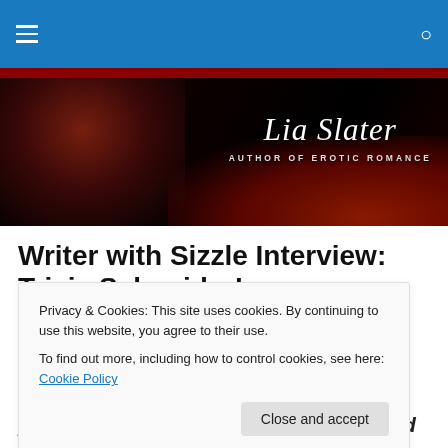Navigation bar with menu and search icons
[Figure (illustration): Lia Slater Author of Erotic Romance website banner with couple in red dramatic lighting and script text]
Writer with Sizzle Interview: Tricia Schneider!
Privacy & Cookies: This site uses cookies. By continuing to use this website, you agree to their use.
To find out more, including how to control cookies, see here: Cookie Policy
Close and accept
paranormal romance release, Witch and the Vampire,